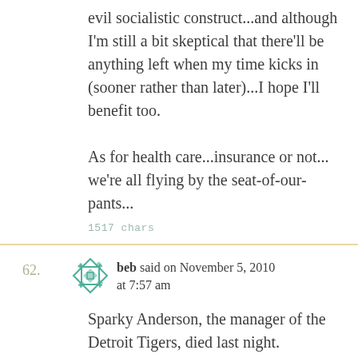evil socialistic construct...and although I'm still a bit skeptical that there'll be anything left when my time kicks in (sooner rather than later)...I hope I'll benefit too.

As for health care...insurance or not...we're all flying by the seat-of-our-pants...
1517 chars
62.
beb said on November 5, 2010 at 7:57 am
Sparky Anderson, the manager of the Detroit Tigers, died last night. Following the death earlier this year of Ernie